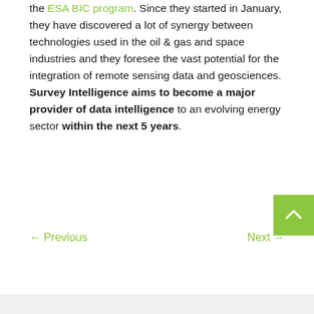the ESA BIC program. Since they started in January, they have discovered a lot of synergy between technologies used in the oil & gas and space industries and they foresee the vast potential for the integration of remote sensing data and geosciences. Survey Intelligence aims to become a major provider of data intelligence to an evolving energy sector within the next 5 years.
← Previous    Next →